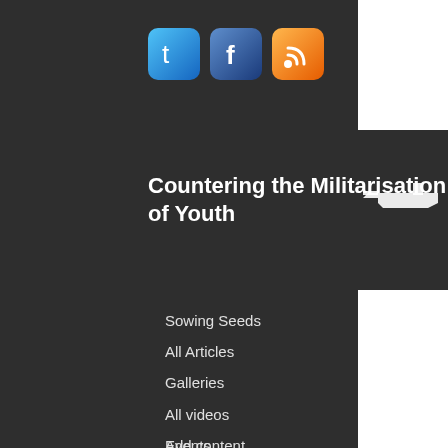[Figure (logo): Social media icons: Twitter (blue bird), Facebook (blue f), RSS (orange feed icon)]
Countering the Militarisation of Youth
Sowing Seeds
All Articles
Galleries
All videos
Events
Add content
Countering militarisation of youth
What is militarisation of youth?
Where to go from here
Inspiration for resistance!
Join our week of action